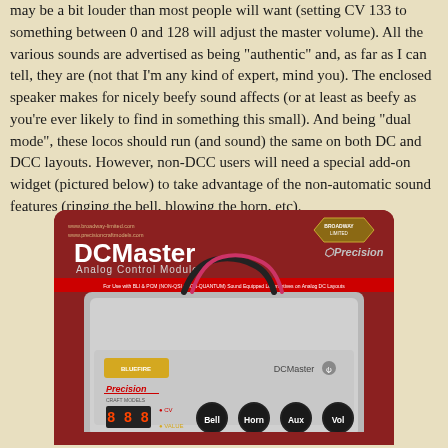may be a bit louder than most people will want (setting CV 133 to something between 0 and 128 will adjust the master volume). All the various sounds are advertised as being "authentic" and, as far as I can tell, they are (not that I'm any kind of expert, mind you). The enclosed speaker makes for nicely beefy sound affects (or at least as beefy as you're ever likely to find in something this small). And being "dual mode", these locos should run (and sound) the same on both DC and DCC layouts. However, non-DCC users will need a special add-on widget (pictured below) to take advantage of the non-automatic sound features (ringing the bell, blowing the horn, etc).
[Figure (photo): Photo of DCMaster Analog Control Module product packaging. The packaging shows a gray rectangular device with wires (black and pink/red) coming out the top, along with buttons labeled Bell, Horn, Aux, and Vol, a small digital display, and logos for Broadway Limited and Precision Craft Models. The packaging header shows 'DCMaster Analog Control Module' in large text.]